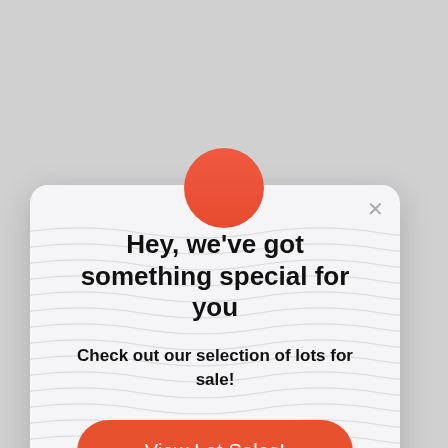[Figure (screenshot): Red circular icon partially visible above the modal dialog]
Hey, we've got something special for you
Check out our selection of lots for sale!
View Lot Sales!